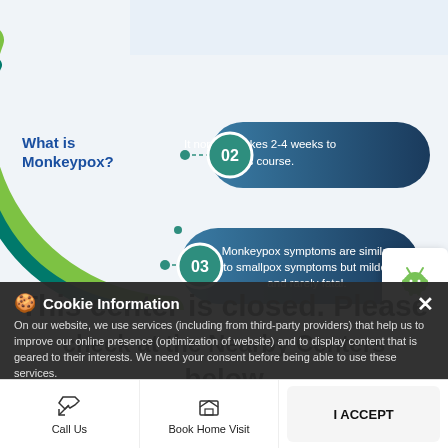[Figure (infographic): Monkeypox infographic showing circular arc decoration with 'What is Monkeypox?' label and numbered pill-shaped callouts: 02 - It normally takes 2-4 weeks to run its course. 03 - Monkeypox symptoms are similar to smallpox symptoms but milder and rarely fatal. Android and Apple app icons visible on right side.]
This center is closed. Please check at the Nearby Centers below
Cookie Information
On our website, we use services (including from third-party providers) that help us to improve our online presence (optimization of website) and to display content that is geared to their interests. We need your consent before being able to use these services.
555 or visit-
https://www.metropolisindia.com/
I ACCEPT
Call Us
Book Home Visit
Directions